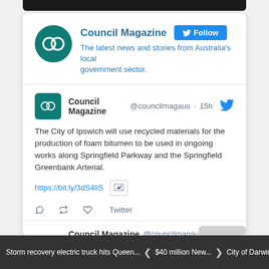[Figure (screenshot): Screenshot of Council Magazine Twitter profile and feed showing two tweets about local government news]
Council Magazine
The latest news and stories from Australia's local government sector.
Council Magazine @councilmagaus · 15h
The City of Ipswich will use recycled materials for the production of foam bitumen to be used in ongoing works along Springfield Parkway and the Springfield Greenbank Arterial.
https://bit.ly/3dS4liS
Twitter
Council Magazine @councilmagaus · 15h
The City of Newcastle has begun early construction works in
Storm recovery electric truck hits Queen... $40 million New... City of Darwin announces $91.5 million ...